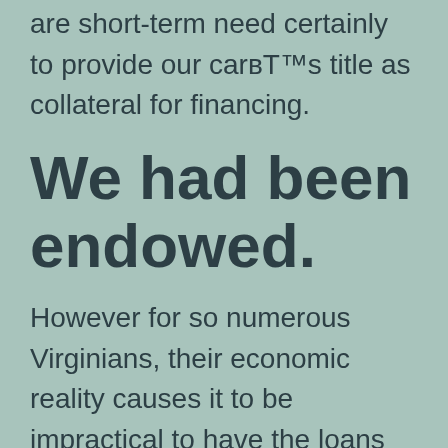are short-term need certainly to provide our carвЂ™s title as collateral for financing.
We had been endowed.
However for so numerous Virginians, their economic reality causes it to be impractical to have the loans and mortgages www.fastcashcartitleloans.com/payday-loans-ut I received, so they really must go directly to the payday lender that is nearest. Then, they frequently become caught in a scenario that is terrible which there clearly was almost no escape. When you look at the commonwealth,